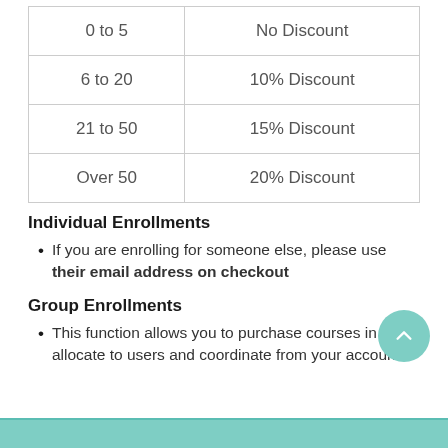| 0 to 5 | No Discount |
| 6 to 20 | 10% Discount |
| 21 to 50 | 15% Discount |
| Over 50 | 20% Discount |
Individual Enrollments
If you are enrolling for someone else, please use their email address on checkout
Group Enrollments
This function allows you to purchase courses in bulk, allocate to users and coordinate from your account.